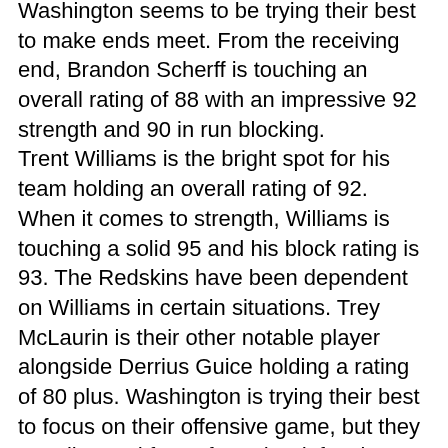Washington seems to be trying their best to make ends meet. From the receiving end, Brandon Scherff is touching an overall rating of 88 with an impressive 92 strength and 90 in run blocking.
Trent Williams is the bright spot for his team holding an overall rating of 92. When it comes to strength, Williams is touching a solid 95 and his block rating is 93. The Redskins have been dependent on Williams in certain situations. Trey McLaurin is their other notable player alongside Derrius Guice holding a rating of 80 plus. Washington is trying their best to focus on their offensive game, but they equally need focus from the defensive end. The Redskins are lagging behind when it comes to their overall rating.
Washington Redskins vs Pittsburgh Steelers NFL Madden 20 Sim Predictions 6/13/2020
Pittsburgh Steelers have been on and off with their success but they managed to make an impression in the Madden 20 simulations. The Steelers are all set to take advantage of their teammates as per the details from our sources.